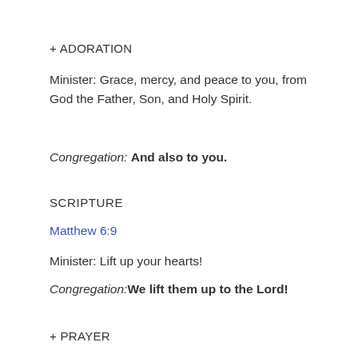+ ADORATION
Minister: Grace, mercy, and peace to you, from God the Father, Son, and Holy Spirit.
Congregation: And also to you.
SCRIPTURE
Matthew 6:9
Minister: Lift up your hearts!
Congregation: We lift them up to the Lord!
+ PRAYER